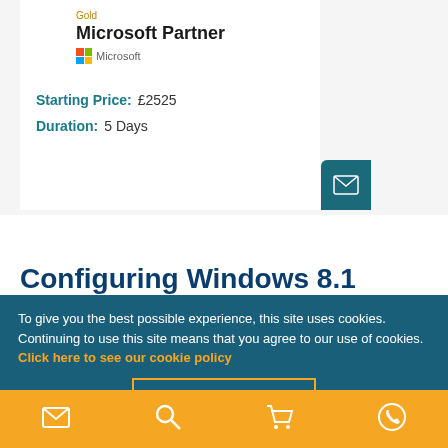[Figure (logo): Gold Microsoft Partner badge with Microsoft logo squares]
Starting Price: £2525
Duration: 5 Days
Configuring Windows 8.1
To give you the best possible experience, this site uses cookies. Continuing to use this site means that you agree to our use of cookies. Click here to see our cookie policy
Ok, I Accept